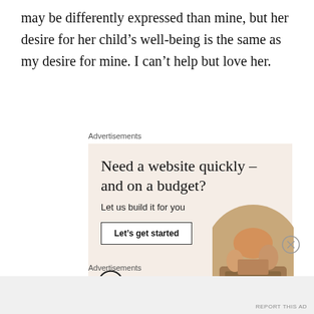may be differently expressed than mine, but her desire for her child’s well-being is the same as my desire for mine. I can’t help but love her.
Advertisements
[Figure (infographic): WordPress advertisement: 'Need a website quickly – and on a budget? Let us build it for you' with a 'Let’s get started' button, WordPress logo, and a circular photo of a person’s hands typing on a laptop.]
Advertisements